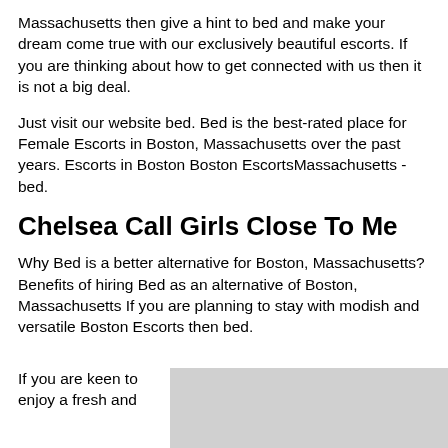Massachusetts then give a hint to bed and make your dream come true with our exclusively beautiful escorts. If you are thinking about how to get connected with us then it is not a big deal.
Just visit our website bed. Bed is the best-rated place for Female Escorts in Boston, Massachusetts over the past years. Escorts in Boston Boston EscortsMassachusetts - bed.
Chelsea Call Girls Close To Me
Why Bed is a better alternative for Boston, Massachusetts? Benefits of hiring Bed as an alternative of Boston, Massachusetts If you are planning to stay with modish and versatile Boston Escorts then bed.
If you are keen to enjoy a fresh and
[Figure (other): Gray rectangle placeholder image]